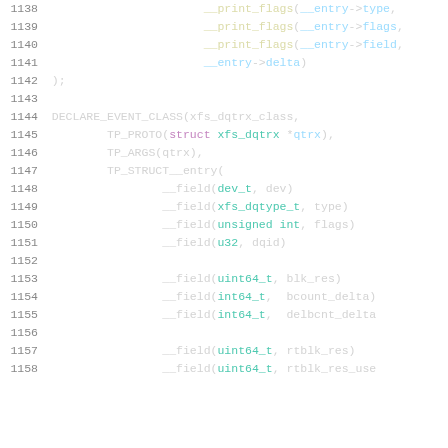Source code listing lines 1138-1158 showing Linux kernel tracepoint declarations for xfs_dqtrx_class event, including __print_flags calls and __field macro definitions for dev_t, xfs_dqtype_t, unsigned int, u32, uint64_t, int64_t fields.